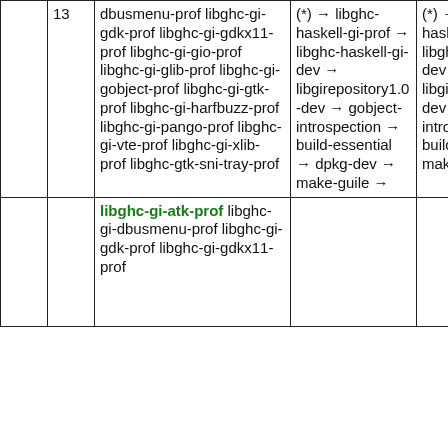|  |  | Package | Dependency chain 1 | Dependency chain 2 |
| --- | --- | --- | --- | --- |
|  | 13 | dbusmenu-prof libghc-gi-gdk-prof libghc-gi-gdkx11-prof libghc-gi-gio-prof libghc-gi-glib-prof libghc-gi-gobject-prof libghc-gi-gtk-prof libghc-gi-harfbuzz-prof libghc-gi-pango-prof libghc-gi-vte-prof libghc-gi-xlib-prof libghc-gtk-sni-tray-prof | (*) → libghc-haskell-gi-prof → libghc-haskell-gi-dev → libgirepository1.0-dev → gobject-introspection → build-essential → dpkg-dev → make-guile → | (*) → libghc-haskell-gi- libghc-haskell-gi- dev → libgirepos dev → gobject- introspecti build-esse make-guile |
|  |  | libghc-gi-atk-prof libghc-gi-dbusmenu-prof libghc-gi-gdk-prof libghc-gi-gdkx11-prof |  |  |